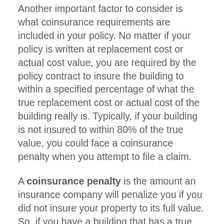Another important factor to consider is what coinsurance requirements are included in your policy. No matter if your policy is written at replacement cost or actual cost value, you are required by the policy contract to insure the building to within a specified percentage of what the true replacement cost or actual cost of the building really is. Typically, if your building is not insured to within 80% of the true value, you could face a coinsurance penalty when you attempt to file a claim.
A coinsurance penalty is the amount an insurance company will penalize you if you did not insure your property to its full value. So, if you have a building that has a true replacement cost of $250,000 with 80% coinsurance, you must insure the building to at least $200,000 to avoid that penalty. If the insured value is less than $200,000 you will be